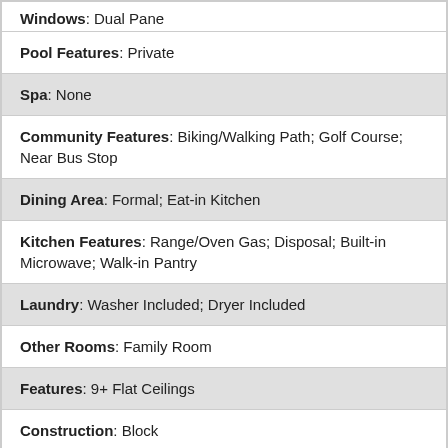Windows: Dual Pane
Pool Features: Private
Spa: None
Community Features: Biking/Walking Path; Golf Course; Near Bus Stop
Dining Area: Formal; Eat-in Kitchen
Kitchen Features: Range/Oven Gas; Disposal; Built-in Microwave; Walk-in Pantry
Laundry: Washer Included; Dryer Included
Other Rooms: Family Room
Features: 9+ Flat Ceilings
Construction: Block
Const – Finish: Painted; Stucco
Roofing: Built Up